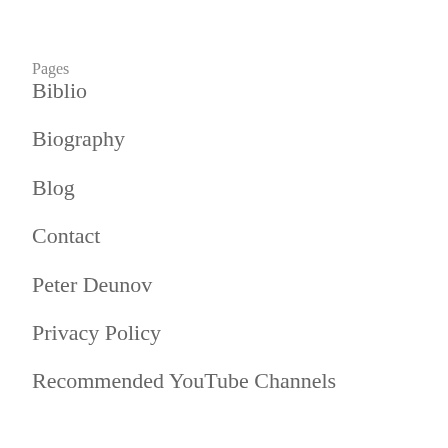Pages
Biblio
Biography
Blog
Contact
Peter Deunov
Privacy Policy
Recommended YouTube Channels